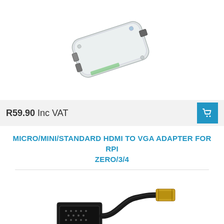[Figure (photo): Transparent plastic Raspberry Pi Zero case/enclosure, viewed at an angle showing micro USB and HDMI cutouts]
R59.90  Inc VAT
MICRO/MINI/STANDARD HDMI TO VGA ADAPTER FOR RPI ZERO/3/4
[Figure (photo): Black HDMI to VGA adapter cable with a small black rectangular VGA adapter block and a micro HDMI connector]